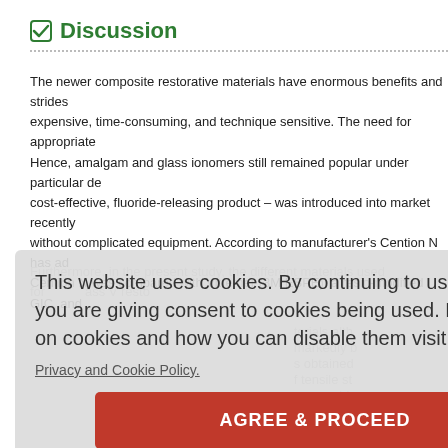Discussion
The newer composite restorative materials have enormous benefits and strides expensive, time-consuming, and technique sensitive. The need for appropriate Hence, amalgam and glass ionomers still remained popular under particular de cost-effective, fluoride-releasing product – was introduced into market recently without complicated equipment. According to manufacturer's Cention N has ad Cention N was compared with Vitremer (3M ESPE), a resin-modified GIC, and
Furthermore, in the present study, the different materials used for ass V resto materials although markedly b s obtained f tensile st were subj
This website uses cookies. By continuing to use this website you are giving consent to cookies being used. For information on cookies and how you can disable them visit our
Privacy and Cookie Policy.
AGREE & PROCEED
This study utilized the internal ISO immended pending first w the lo r coefficien designs, such as the flexural ISO r